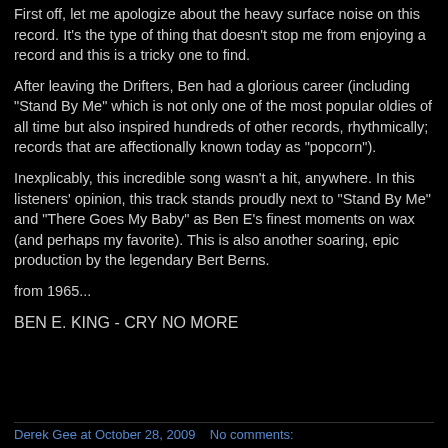First off, let me apologize about the heavy surface noise on this record. It's the type of thing that doesn't stop me from enjoying a record and this is a tricky one to find.
After leaving the Drifters, Ben had a glorious career (including "Stand By Me" which is not only one of the most popular oldies of all time but also inspired hundreds of other records, rhythmically; records that are affectionally known today as "popcorn").
Inexplicably, this incredible song wasn't a hit, anywhere. In this listeners' opinion, this track stands proudly next to "Stand By Me" and "There Goes My Baby" as Ben E's finest moments on wax (and perhaps my favorite). This is also another soaring, epic production by the legendary Bert Berns.
from 1965...
BEN E. KING - CRY NO MORE
Derek Gee at October 28, 2009   No comments: